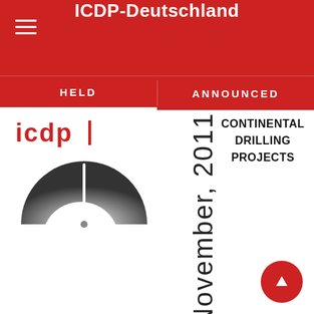ICDP-Deutschland
HELD
ANNOUNCED
[Figure (logo): ICDP logo with text 'icdp' and a semicircular gauge/dial graphic in grayscale]
November, 2011
CONTINENTAL DRILLING PROJECTS